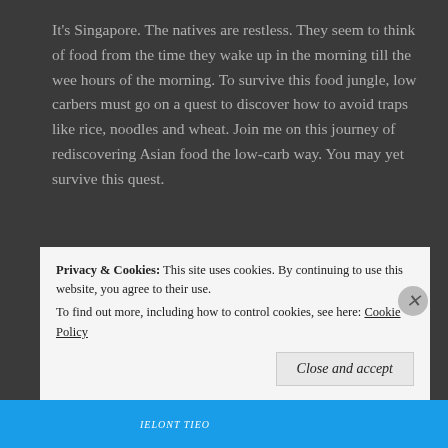It's Singapore. The natives are restless. They seem to think of food from the time they wake up in the morning till the wee hours of the morning. To survive this food jungle, low carbers must go on a quest to discover how to avoid traps like rice, noodles and wheat. Join me on this journey of rediscovering Asian food the low-carb way. You may yet survive this quest.
Archives
August 2022
July 2022
Privacy & Cookies: This site uses cookies. By continuing to use this website, you agree to their use. To find out more, including how to control cookies, see here: Cookie Policy
Close and accept